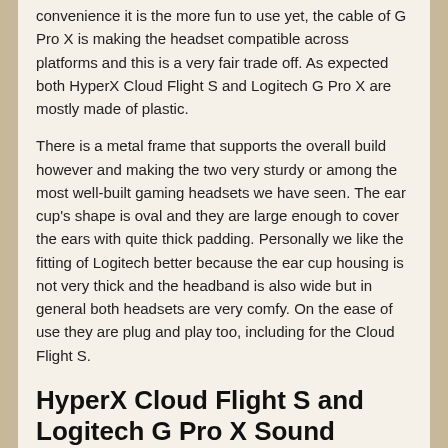convenience it is the more fun to use yet, the cable of G Pro X is making the headset compatible across platforms and this is a very fair trade off. As expected both HyperX Cloud Flight S and Logitech G Pro X are mostly made of plastic.
There is a metal frame that supports the overall build however and making the two very sturdy or among the most well-built gaming headsets we have seen. The ear cup's shape is oval and they are large enough to cover the ears with quite thick padding. Personally we like the fitting of Logitech better because the ear cup housing is not very thick and the headband is also wide but in general both headsets are very comfy. On the ease of use they are plug and play too, including for the Cloud Flight S.
HyperX Cloud Flight S and Logitech G Pro X Sound Quality
Moving to the most important part, let's listen to these headsets and see which is more appealing but we do like any of the two. They are pretty much the same to our ears and as you can expect, there is some slight boost on the lower end which makes bass